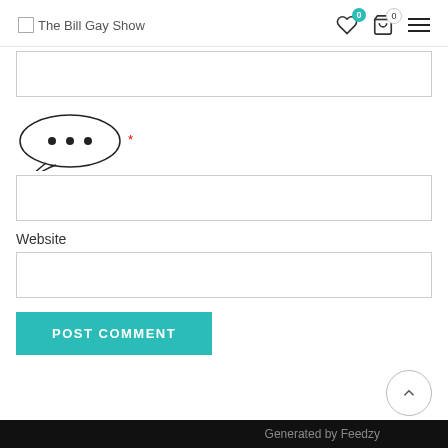The Bill Gay Show
[Figure (screenshot): Form input fields for a comment form with an ellipsis speech bubble annotation, Website label, input boxes, POST COMMENT button, scroll-to-top button, and footer bar.]
Website
Generated by Feedzy